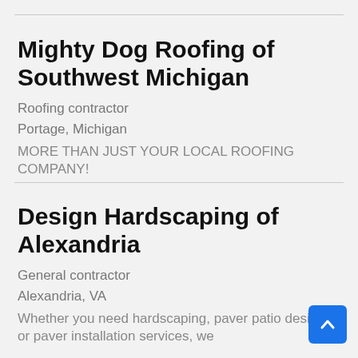Mighty Dog Roofing of Southwest Michigan
Roofing contractor
Portage, Michigan
MORE THAN JUST YOUR LOCAL ROOFING COMPANY!
Design Hardscaping of Alexandria
General contractor
Alexandria, VA
Whether you need hardscaping, paver patio designs or paver installation services, we